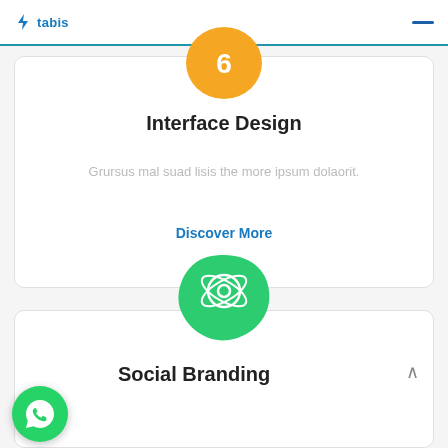tabis
Interface Design
Grursus mal suad lisis the more ipsum dolaorit.
Discover More
[Figure (illustration): Green blob shape with a location/orbit icon (Social Branding icon)]
Social Branding
[Figure (illustration): WhatsApp circular green button with phone handset icon]